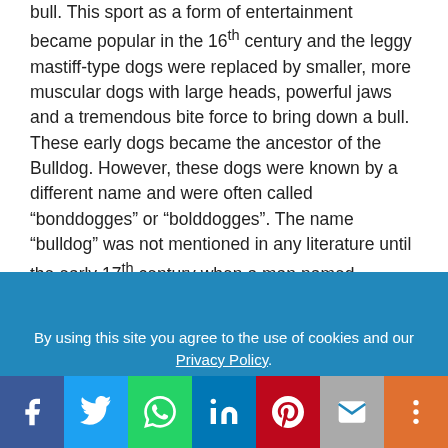bull. This sport as a form of entertainment became popular in the 16th century and the leggy mastiff-type dogs were replaced by smaller, more muscular dogs with large heads, powerful jaws and a tremendous bite force to bring down a bull. These early dogs became the ancestor of the Bulldog. However, these dogs were known by a different name and were often called "bonddogges" or "bolddogges". The name "bulldog" was not mentioned in any literature until the early 17th century when a man named Preswick Eaton wrote in a letter mentioning "two good Bulldogs". When bull bating became illegal in England in the 1830s the role of the Bulldog as a sporting animal gradually diminished and through the years, breeders promoted the dog as a pet by gradually developing
By using this site you agree to the use of cookies and our Privacy Policy.